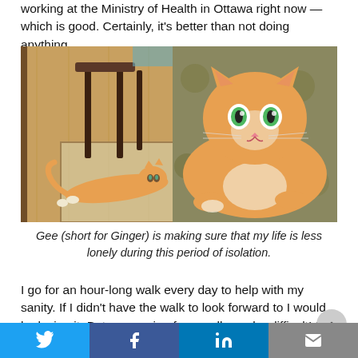working at the Ministry of Health in Ottawa right now — which is good. Certainly, it's better than not doing anything.
[Figure (photo): Two photos of an orange tabby cat named Gee (short for Ginger). Left photo shows the cat lying stretched out on a hardwood floor near a rug with dining chairs in background. Right photo shows a close-up of the same cat with green eyes lying on a floral blanket.]
Gee (short for Ginger) is making sure that my life is less lonely during this period of isolation.
I go for an hour-long walk every day to help with my sanity. If I didn't have the walk to look forward to I would be losing it. But even going for a walk can be difficult! I love dogs, so when I go a walk and I see a dog I have to fight my urge to pet them. It's sad